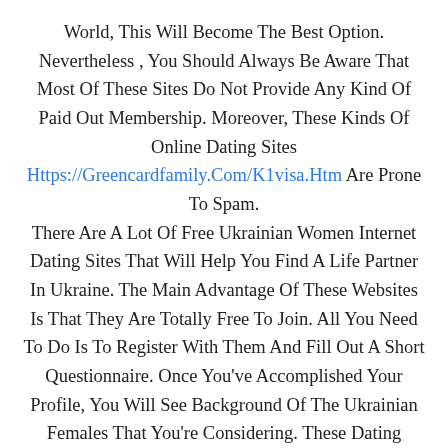World, This Will Become The Best Option. Nevertheless , You Should Always Be Aware That Most Of These Sites Do Not Provide Any Kind Of Paid Out Membership. Moreover, These Kinds Of Online Dating Sites Https://Greencardfamily.Com/K1visa.Htm Are Prone To Spam. There Are A Lot Of Free Ukrainian Women Internet Dating Sites That Will Help You Find A Life Partner In Ukraine. The Main Advantage Of These Websites Is That They Are Totally Free To Join. All You Need To Do Is To Register With Them And Fill Out A Short Questionnaire. Once You've Accomplished Your Profile, You Will See Background Of The Ukrainian Females That You're Considering. These Dating Profiles Will Help You Determine If You Have A Chance Of Creating A Important Relationship With A Ukrainian Female. Most Of The Sites Will Let You Find A Partner Near Your Vicinity